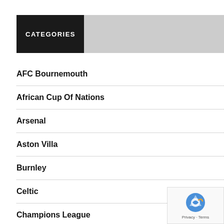CATEGORIES
AFC Bournemouth
African Cup Of Nations
Arsenal
Aston Villa
Burnley
Celtic
Champions League
Championship